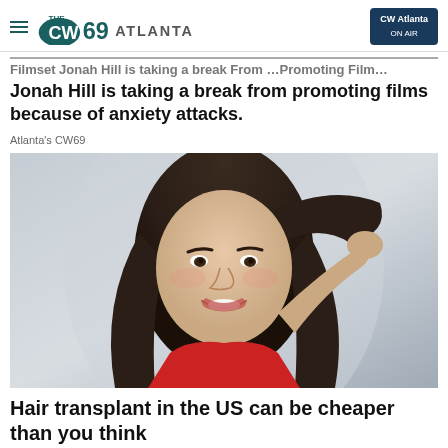THE CW69 ATLANTA | CW Atlanta ON AIR
Filmset Jonah Hill is taking a break from promoting films because of anxiety attacks.
Atlanta's CW69
[Figure (photo): Portrait photo of a young woman with long dark hair, smiling, wearing a red top, hand raised to her head]
Hair transplant in the US can be cheaper than you think